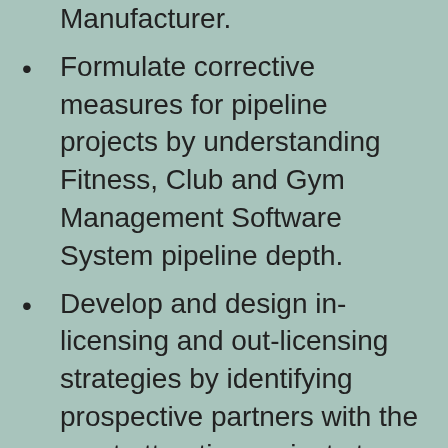Manufacturer.
Formulate corrective measures for pipeline projects by understanding Fitness, Club and Gym Management Software System pipeline depth.
Develop and design in-licensing and out-licensing strategies by identifying prospective partners with the most attractive projects to enhance and expand business potential and Scope.
Report will be updated with the latest data and delivered to you within 2-4 working days of order.
Suitable for supporting your internal and